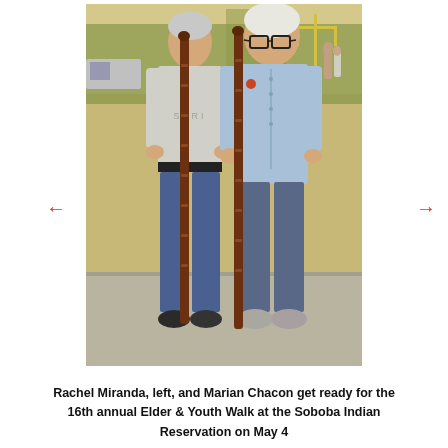[Figure (photo): Two elderly women standing outdoors on a sidewalk, each holding tall decorated wooden walking sticks/staffs. The woman on the left wears a gray t-shirt with 'SPRI' text and jeans with a black belt. The woman on the right wears a light blue button-up shirt and jeans with glasses. Trees and a parking area are visible in the background.]
Rachel Miranda, left, and Marian Chacon get ready for the 16th annual Elder & Youth Walk at the Soboba Indian Reservation on May 4